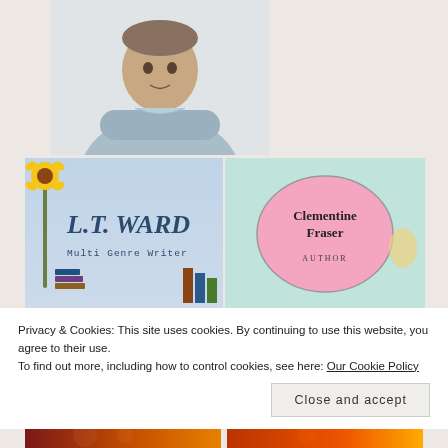[Figure (photo): Man with arms crossed wearing a light blue shirt, photographed against a light background]
[Figure (illustration): L.T. Ward Multi Genre Writer promotional card with blue background and sunflower decoration]
[Figure (illustration): Clementine Fraser Author card with mint green background and pink circular blob logo]
Privacy & Cookies: This site uses cookies. By continuing to use this website, you agree to their use.
To find out more, including how to control cookies, see here: Our Cookie Policy
Close and accept
[Figure (photo): Two partial thumbnail images at the bottom of the page showing warm orange/red tones]